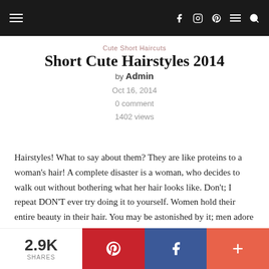Navigation bar with hamburger menu, social icons (facebook, instagram, pinterest), lines menu, and search icon
Cute Short Haircuts
Short Cute Hairstyles 2014
by Admin
Oct 16, 2014
0 comment
1402 views
Hairstyles! What to say about them? They are like proteins to a woman's hair! A complete disaster is a woman, who decides to walk out without bothering what her hair looks like. Don't; I repeat DON'T ever try doing it to yourself. Women hold their entire beauty in their hair. You may be astonished by it; men adore beautifully styled up hair a lot. Girls mostly use to love long and alluring and yet breathtaking hair but with time, short hair has
2.9K SHARES | Pinterest share | Facebook share | More